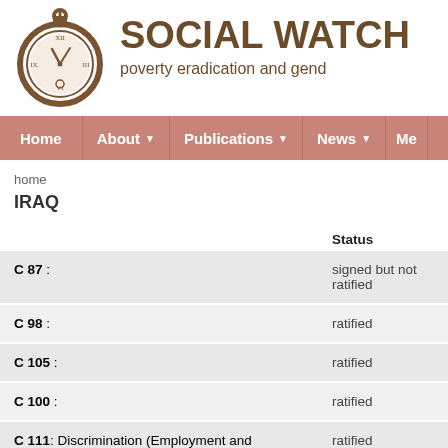[Figure (logo): Social Watch pocket watch logo — brown circular pocket watch illustration]
SOCIAL WATCH
poverty eradication and gend
Home | About | Publications | News | Me
home
IRAQ
|  | Status |
| --- | --- |
| C 87 : | signed but not ratified |
| C 98 : | ratified |
| C 105 : | ratified |
| C 100 : | ratified |
| C 111: Discrimination (Employment and Occupation) Convention, 1958 | ratified |
| C 138 : | ratified |